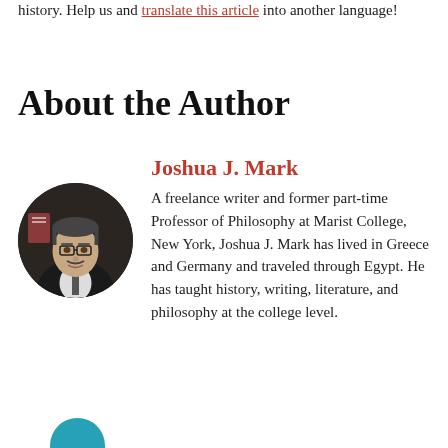history. Help us and translate this article into another language!
About the Author
[Figure (photo): Circular portrait photo of Joshua J. Mark, a man with glasses wearing a dark suit]
Joshua J. Mark
A freelance writer and former part-time Professor of Philosophy at Marist College, New York, Joshua J. Mark has lived in Greece and Germany and traveled through Egypt. He has taught history, writing, literature, and philosophy at the college level.